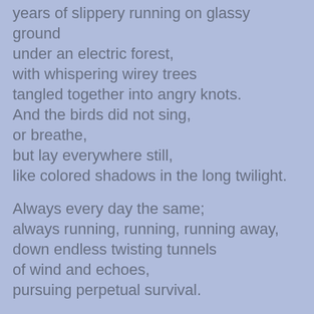years of slippery running on glassy ground
under an electric forest,
with whispering wirey trees
tangled together into angry knots.
And the birds did not sing,
or breathe,
but lay everywhere still,
like colored shadows in the long twilight.
Always every day the same;
always running, running, running away,
down endless twisting tunnels
of wind and echoes,
pursuing perpetual survival.
They pushed and prodded the crowd,
told us to keep moving:
"Run, scream, scream to hear the sound,
to feel the life inside you and hold hard on it.
Run fast, never stop,